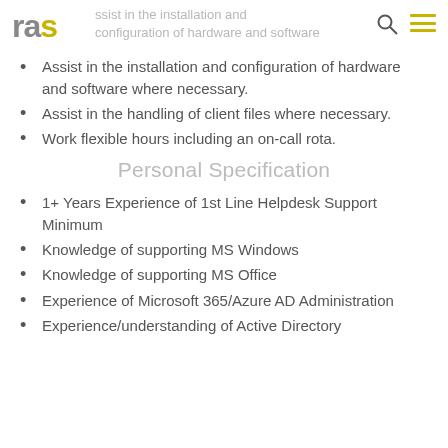ras — Assist in the installation and configuration of hardware and software where necessary.
Assist in the installation and configuration of hardware and software where necessary.
Assist in the handling of client files where necessary.
Work flexible hours including an on-call rota.
Personal Specification
1+ Years Experience of 1st Line Helpdesk Support Minimum
Knowledge of supporting MS Windows
Knowledge of supporting MS Office
Experience of Microsoft 365/Azure AD Administration
Experience/understanding of Active Directory